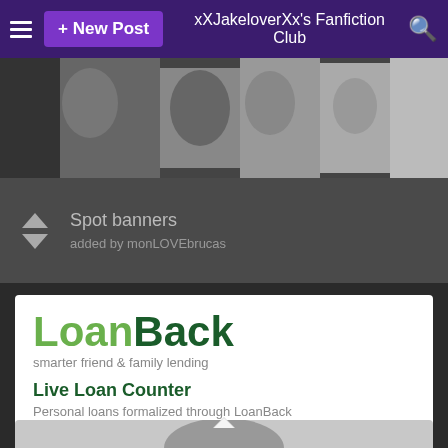+ New Post  xXJakeloverXx's Fanfiction Club
[Figure (photo): Spot banners image showing collage of people, added by monLOVEbrucas]
Spot banners
added by monLOVEbrucas
[Figure (infographic): LoanBack advertisement. Logo: LoanBack, tagline: smarter friend & family lending. Live Loan Counter: Personal loans formalized through LoanBack. Counter showing $1,790,581,228 and counting. Join the tens of thousands who trust LoanBack.]
LoanBack
smarter friend & family lending
Live Loan Counter
Personal loans formalized through LoanBack
$1,790,581,228
and counting
Join the tens of thousands who trust LoanBack